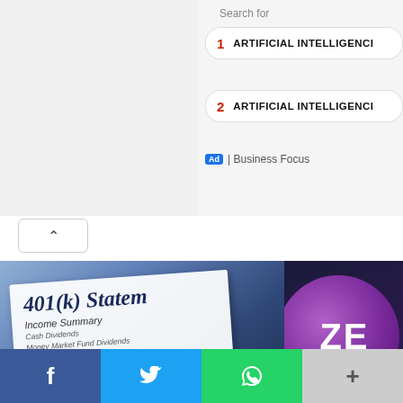Search for
1  ARTIFICIAL INTELLIGENCI
2  ARTIFICIAL INTELLIGENCI
Ad | Business Focus
[Figure (photo): 401(k) Statement document with Income Summary, Cash Dividends, Money Market Fund Dividends, Certificate of Deposit Interest, Corporate Bond and Other text visible, with a calculator in background, blue toned]
[Figure (logo): ZEE logo — purple circle with white ZE letters on dark background]
HOW MUCH CAN I CONTRIBUTE TO MY 401K
SHIVYA SETHI x SEPTEMBER 2, 2022
SONY PICTURES MERGER WILL HI CCI